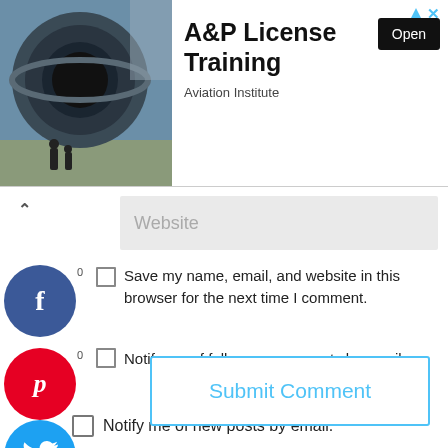[Figure (screenshot): Advertisement banner for A&P License Training by Aviation Institute, with airplane engine photo on the left, bold title text, and an Open button]
A&P License Training
Aviation Institute
[Figure (screenshot): Website input field with placeholder text 'Website' on a light gray background]
Save my name, email, and website in this browser for the next time I comment.
Notify me of follow-up comments by email.
Notify me of new posts by email.
Submit Comment